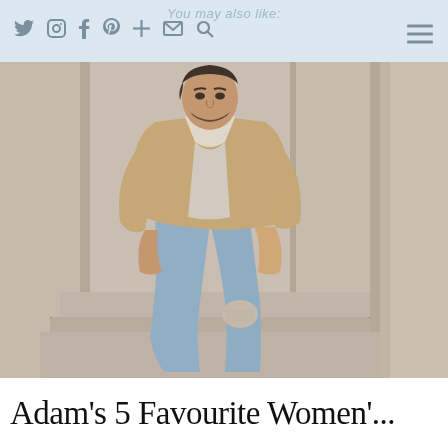You may also like:
[Figure (photo): Man in tan/beige sherpa-lined denim jacket and light blue ripped skinny jeans, sitting on stone steps against stone columns background, looking at camera]
Adam's 5 Favourite Women'...